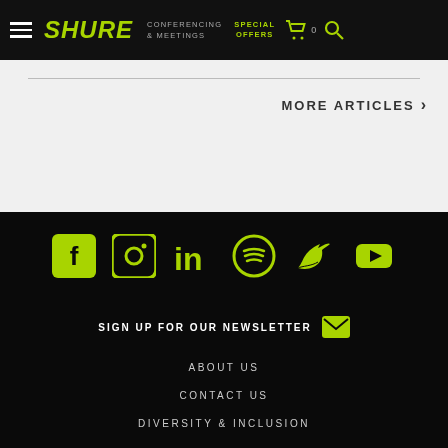SHURE | CONFERENCING & MEETINGS | SPECIAL OFFERS | Cart 0 | Search
MORE ARTICLES >
[Figure (infographic): Row of social media icons in lime green: Facebook, Instagram, LinkedIn, Spotify, Twitter, YouTube]
SIGN UP FOR OUR NEWSLETTER
ABOUT US
CONTACT US
DIVERSITY & INCLUSION